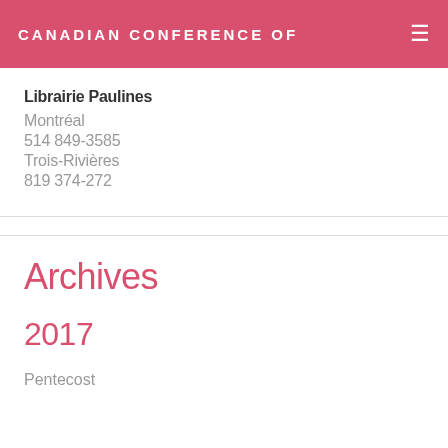CANADIAN CONFERENCE OF
Librairie Paulines
Montréal
514 849-3585
Trois-Rivières
819 374-272
Archives
2017
Pentecost